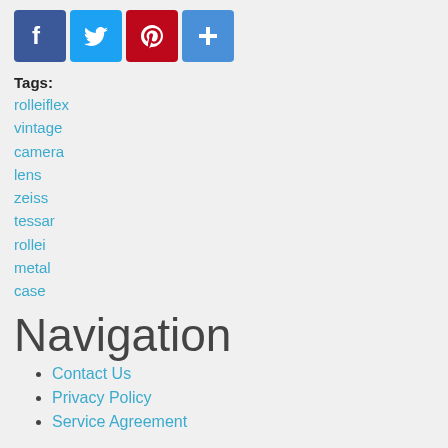[Figure (other): Social sharing icons: Facebook (blue), Twitter (light blue), Pinterest (red), Share/plus (blue)]
Tags:
rolleiflex
vintage
camera
lens
zeiss
tessar
rollei
metal
case
Navigation
Contact Us
Privacy Policy
Service Agreement
Powered by Drupal